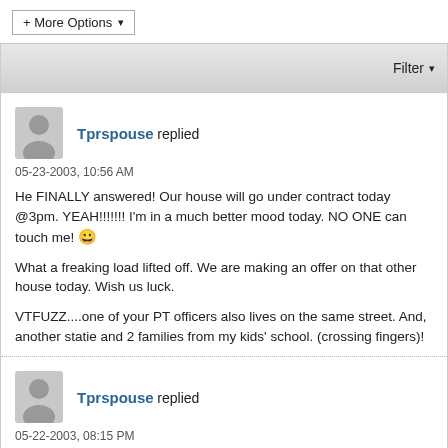[Figure (other): + More Options dropdown button]
[Figure (other): Filter dropdown bar]
Tprspouse replied
05-23-2003, 10:56 AM
He FINALLY answered! Our house will go under contract today @3pm. YEAH!!!!!!! I'm in a much better mood today. NO ONE can touch me! 😀

What a freaking load lifted off. We are making an offer on that other house today. Wish us luck.

VTFUZZ....one of your PT officers also lives on the same street. And, another statie and 2 families from my kids' school. (crossing fingers)!
Tprspouse replied
05-22-2003, 08:15 PM